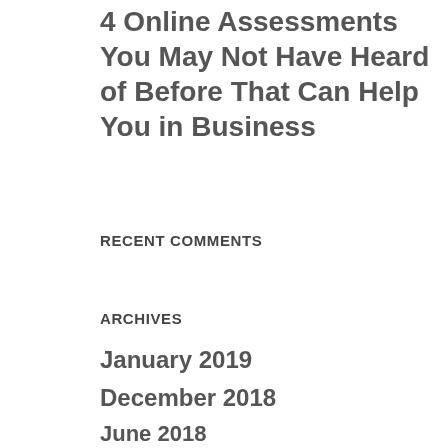4 Online Assessments You May Not Have Heard of Before That Can Help You in Business
RECENT COMMENTS
ARCHIVES
January 2019
December 2018
September 2018
August 2018
July 2018
June 2018